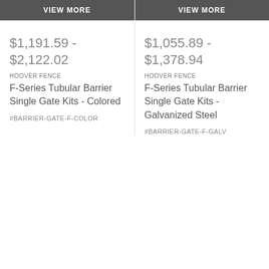VIEW MORE
VIEW MORE
$1,191.59 - $2,122.02
HOOVER FENCE
F-Series Tubular Barrier Single Gate Kits - Colored
#BARRIER-GATE-F-COLOR
$1,055.89 - $1,378.94
HOOVER FENCE
F-Series Tubular Barrier Single Gate Kits - Galvanized Steel
#BARRIER-GATE-F-GALV